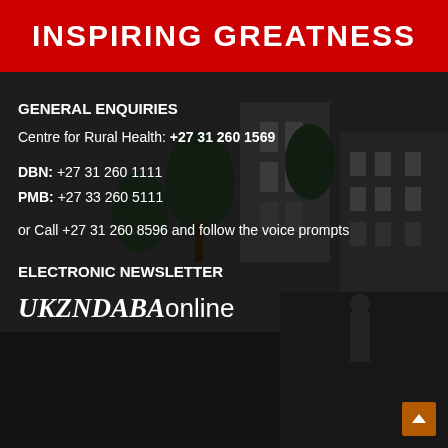INSPIRING GREATNESS
GENERAL ENQUIRIES
Centre for Rural Health: +27 31 260 1569
DBN: +27 31 260 1111
PMB: +27 33 260 5111
or Call +27 31 260 8596 and follow the voice prompts
ELECTRONIC NEWSLETTER
UKZNDABAonline